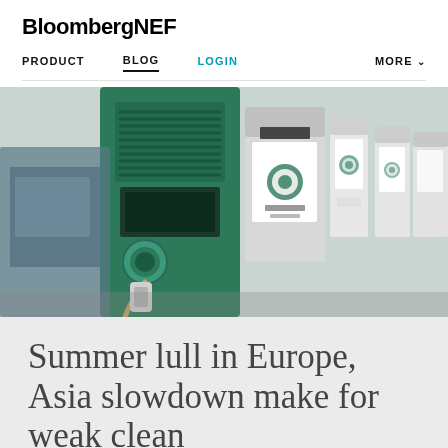BloombergNEF
PRODUCT   BLOG   LOGIN   MORE
[Figure (photo): Row of EV charging stations. In the foreground is a green EV charger with a cable/connector hanging from it. In the background are multiple white charging units with a green circular logo and Chinese text (BYD or similar brand).]
Summer lull in Europe, Asia slowdown make for weak clean